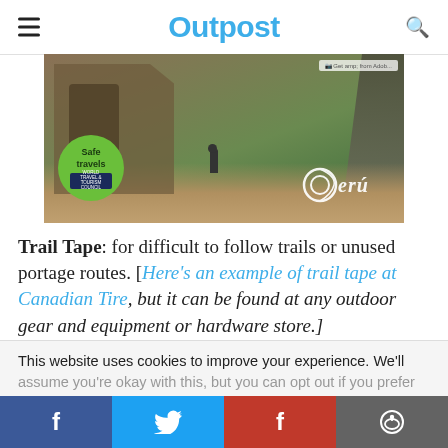Outpost
[Figure (photo): Advertisement photo showing ancient stone ruins with a person walking through an archway, green hillside in background, 'Safe travels' green circle badge with World Travel & Tourism Council seal on left, and Peru logo on right]
Trail Tape: for difficult to follow trails or unused portage routes. [Here's an example of trail tape at Canadian Tire, but it can be found at any outdoor gear and equipment or hardware store.]
This website uses cookies to improve your experience. We'll assume you're okay with this, but you can opt out if you prefer